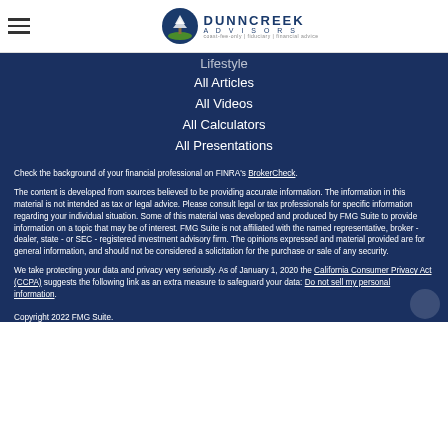Dunncreek Advisors
Lifestyle
All Articles
All Videos
All Calculators
All Presentations
Check the background of your financial professional on FINRA's BrokerCheck.
The content is developed from sources believed to be providing accurate information. The information in this material is not intended as tax or legal advice. Please consult legal or tax professionals for specific information regarding your individual situation. Some of this material was developed and produced by FMG Suite to provide information on a topic that may be of interest. FMG Suite is not affiliated with the named representative, broker - dealer, state - or SEC - registered investment advisory firm. The opinions expressed and material provided are for general information, and should not be considered a solicitation for the purchase or sale of any security.
We take protecting your data and privacy very seriously. As of January 1, 2020 the California Consumer Privacy Act (CCPA) suggests the following link as an extra measure to safeguard your data: Do not sell my personal information.
Copyright 2022 FMG Suite.